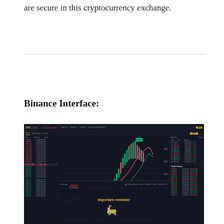are secure in this cryptocurrency exchange.
Binance Interface:
[Figure (screenshot): Binance trading interface screenshot showing BTC trading pair with candlestick chart, order book on left and right panels, volume bars, and a popup overlay with 'Important reminder' message in yellow text with a forklift icon. A red circle highlights the 'margin' button on the interface.]